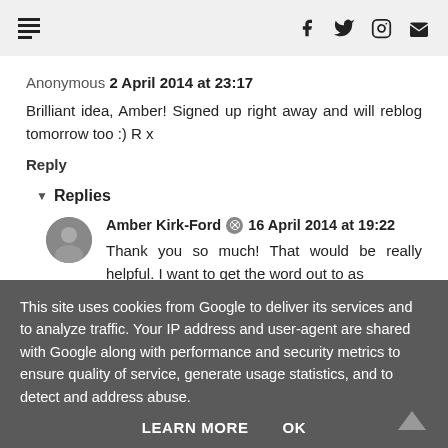Navigation header with menu icon and social icons (Facebook, Twitter, Instagram, Email)
Anonymous 2 April 2014 at 23:17
Brilliant idea, Amber! Signed up right away and will reblog tomorrow too :) R x
Reply
Replies
Amber Kirk-Ford 16 April 2014 at 19:22
Thank you so much! That would be really helpful. I want to get the word out to as
This site uses cookies from Google to deliver its services and to analyze traffic. Your IP address and user-agent are shared with Google along with performance and security metrics to ensure quality of service, generate usage statistics, and to detect and address abuse.